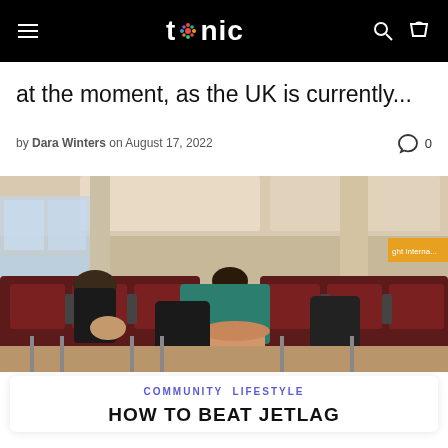tonic (navigation bar with hamburger menu, search, and bag icons)
at the moment, as the UK is currently...
by Dara Winters on August 17, 2022  0
[Figure (photo): Two people sleeping/resting on airport seating chairs, with luggage, in an airport terminal with large windows and maroon/dark red seats.]
COMMUNITY  LIFESTYLE
HOW TO BEAT JETLAG